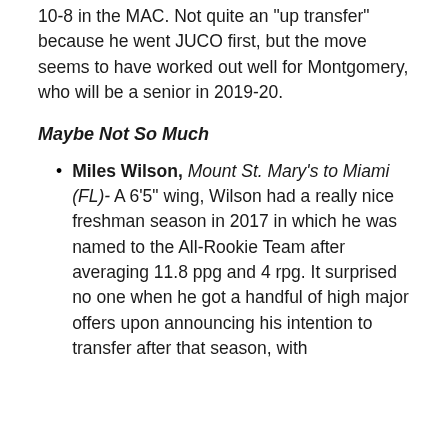10-8 in the MAC. Not quite an "up transfer" because he went JUCO first, but the move seems to have worked out well for Montgomery, who will be a senior in 2019-20.
Maybe Not So Much
Miles Wilson, Mount St. Mary's to Miami (FL)- A 6'5" wing, Wilson had a really nice freshman season in 2017 in which he was named to the All-Rookie Team after averaging 11.8 ppg and 4 rpg. It surprised no one when he got a handful of high major offers upon announcing his intention to transfer after that season, with